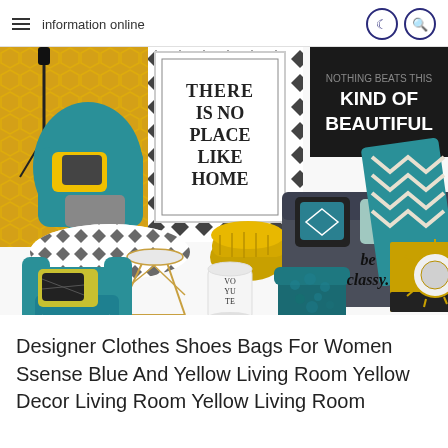information online
[Figure (photo): Interior design mood board featuring a blue/teal and yellow living room color scheme. Shows a dark grey sofa with teal and black patterned pillows, a teal armchair with yellow and black cushions, yellow knitted pouf, teal furry cube ottoman, a geometric gold side table, a candle, wall art reading 'THERE IS NO PLACE LIKE HOME', wall art reading 'KIND OF BEAUTIFUL', a sunburst gold mirror, a yellow and black painting, a teal and white chevron blanket, black and white geometric patterned rug, and text overlays 'be classy.' All on a white background.]
Designer Clothes Shoes Bags For Women Ssense Blue And Yellow Living Room Yellow Decor Living Room Yellow Living Room